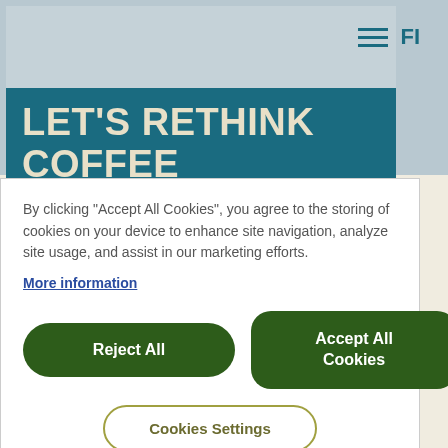FI
LET'S RETHINK COFFEE TOGETHER
By clicking "Accept All Cookies", you agree to the storing of cookies on your device to enhance site navigation, analyze site usage, and assist in our marketing efforts.
More information
Reject All
Accept All Cookies
Cookies Settings